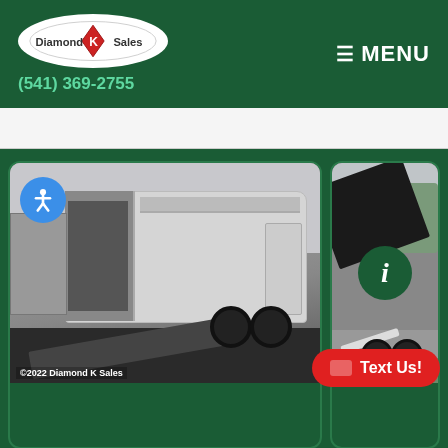Diamond K Sales | (541) 369-2755 | MENU
[Figure (photo): White enclosed cargo/trailer with ramp door open, parked outdoors. Blue accessibility icon button in upper left. Watermark: ©2022 Diamond K Sales]
[Figure (photo): Black dump trailer with raised bed, parked outdoors. Green info (i) button overlay. Partially visible.]
#VPRT8X27TE3 - 2022 Look Vision 8'6"X 27L10K Puresport
#SN52X10T -